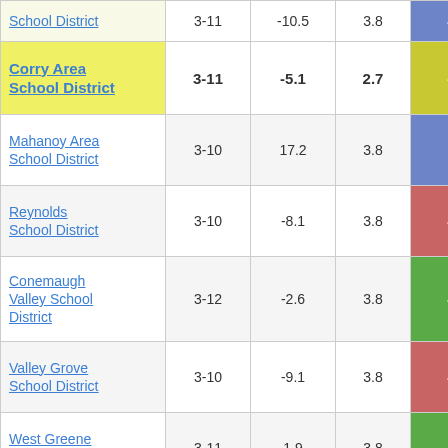| School District | Grades | Col3 | Col4 | Score |  |
| --- | --- | --- | --- | --- | --- |
| Corry Area School District | 3-11 | -5.1 | 2.7 | -1.87 |  |
| School District | 3-11 | -10.5 | 3.8 | -2.75 |  |
| Mahanoy Area School District | 3-10 | 17.2 | 3.8 | 4.51 |  |
| Reynolds School District | 3-10 | -8.1 | 3.8 | -2.11 |  |
| Conemaugh Valley School District | 3-12 | -2.6 | 3.8 | -0.68 |  |
| Valley Grove School District | 3-10 | -9.1 | 3.8 | -2.37 |  |
| West Greene School District | 3-11 | 1.9 | 3.8 | 0.50 |  |
| Achievement House Charter School | 7-11 | -13.2 | 3.8 | -3.43 |  |